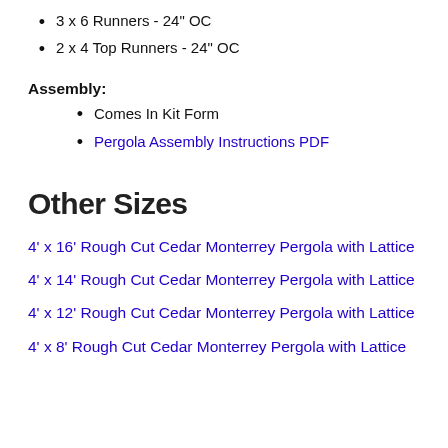3 x 6 Runners - 24" OC
2 x 4 Top Runners - 24" OC
Assembly:
Comes In Kit Form
Pergola Assembly Instructions PDF
Other Sizes
4' x 16' Rough Cut Cedar Monterrey Pergola with Lattice
4' x 14' Rough Cut Cedar Monterrey Pergola with Lattice
4' x 12' Rough Cut Cedar Monterrey Pergola with Lattice
4' x 8' Rough Cut Cedar Monterrey Pergola with Lattice